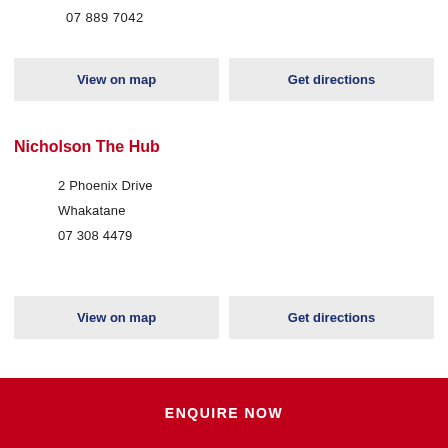07 889 7042
View on map
Get directions
Nicholson The Hub
2 Phoenix Drive
Whakatane
07 308 4479
View on map
Get directions
ENQUIRE NOW